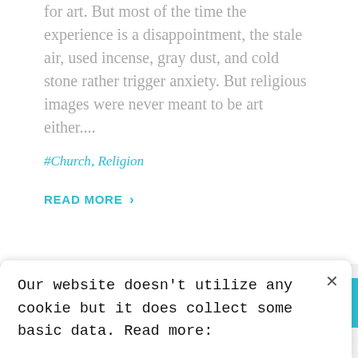for art. But most of the time the experience is a disappointment, the stale air, used incense, gray dust, and cold stone rather trigger anxiety. But religious images were never meant to be art either....
#Church, Religion
READ MORE >
Our website doesn't utilize any cookie but it does collect some basic data. Read more: